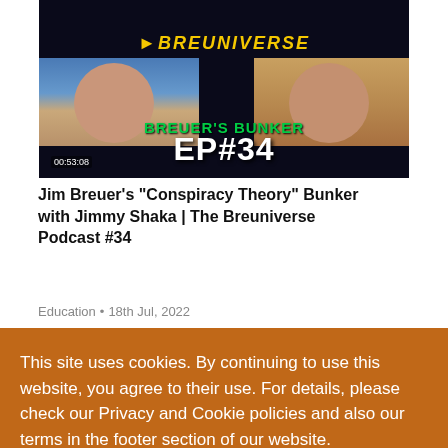[Figure (screenshot): Podcast thumbnail showing two men with headphones, starfield background, yellow 'BREUNIVERSE' logo at top, green 'BREUER'S BUNKER' text, white 'EP#34' large text, timestamp 00:53:08 at bottom left]
Jim Breuer's "Conspiracy Theory" Bunker with Jimmy Shaka | The Breuniverse Podcast #34
Education • 18th Jul, 2022
This site uses cookies. By continuing to use this website, you agree to their use. For details, please check our Privacy and Cookie policies and also our terms in the footer section of our website.
I accept